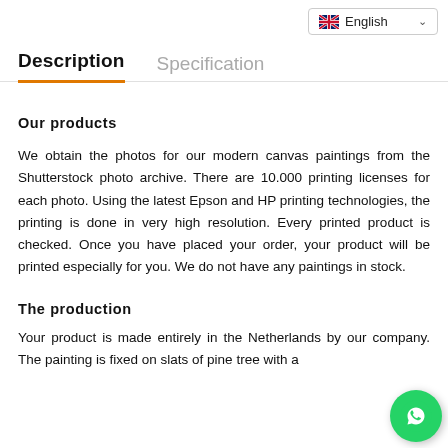[Figure (screenshot): Language selector dropdown showing English with UK flag and chevron]
Description
Specification
Our products
We obtain the photos for our modern canvas paintings from the Shutterstock photo archive. There are 10.000 printing licenses for each photo. Using the latest Epson and HP printing technologies, the printing is done in very high resolution. Every printed product is checked. Once you have placed your order, your product will be printed especially for you. We do not have any paintings in stock.
The production
Your product is made entirely in the Netherlands by our company. The painting is fixed on slats of pine tree with a
[Figure (logo): WhatsApp circular green button with phone icon]